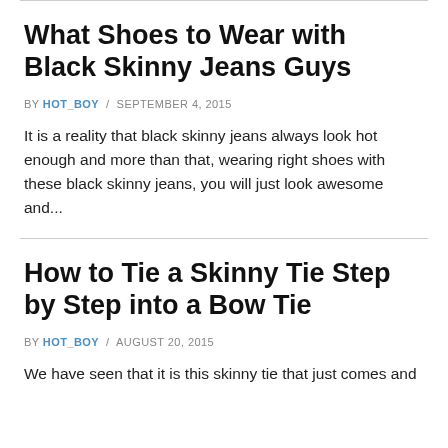What Shoes to Wear with Black Skinny Jeans Guys
BY HOT_BOY / SEPTEMBER 4, 2015
It is a reality that black skinny jeans always look hot enough and more than that, wearing right shoes with these black skinny jeans, you will just look awesome and...
How to Tie a Skinny Tie Step by Step into a Bow Tie
BY HOT_BOY / AUGUST 20, 2015
We have seen that it is this skinny tie that just comes and